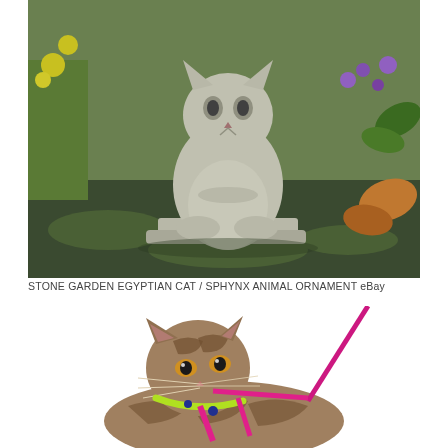[Figure (photo): A stone garden ornament of an Egyptian cat / Sphynx sitting on a square base, surrounded by green plants, moss, and flowers in a garden setting.]
STONE GARDEN EGYPTIAN CAT / SPHYNX ANIMAL ORNAMENT eBay
[Figure (photo): A tabby cat wearing a colorful harness (yellow-green collar, pink/magenta straps) with a leash, looking upward to the left against a white background.]